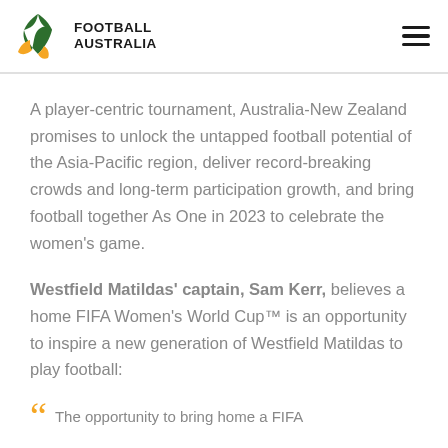FOOTBALL AUSTRALIA
A player-centric tournament, Australia-New Zealand promises to unlock the untapped football potential of the Asia-Pacific region, deliver record-breaking crowds and long-term participation growth, and bring football together As One in 2023 to celebrate the women’s game.
Westfield Matildas’ captain, Sam Kerr, believes a home FIFA Women’s World Cup™ is an opportunity to inspire a new generation of Westfield Matildas to play football:
The opportunity to bring home a FIFA...